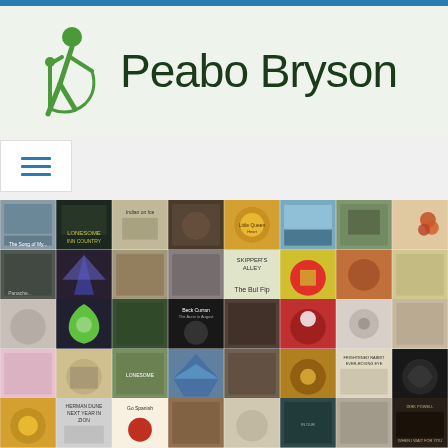[Figure (logo): Peabo Bryson website screenshot with green stick figure singer logo and dark green site title text on light green background, with hamburger menu button below, and a large grid of album cover thumbnails filling the lower portion of the page]
Peabo Bryson